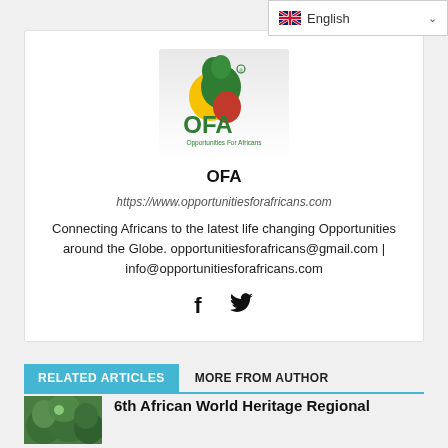[Figure (screenshot): English language selector dropdown button with UK flag icon in top right corner]
[Figure (logo): OFA - Opportunities For Africans logo with Africa map in green, yellow and red colors]
OFA
https://www.opportunitiesforafricans.com
Connecting Africans to the latest life changing Opportunities around the Globe. opportunitiesforafricans@gmail.com | info@opportunitiesforafricans.com
[Figure (other): Social media icons: Facebook (f) and Twitter (bird) icons]
RELATED ARTICLES
MORE FROM AUTHOR
[Figure (photo): Thumbnail image of trees/forest for article]
6th African World Heritage Regional